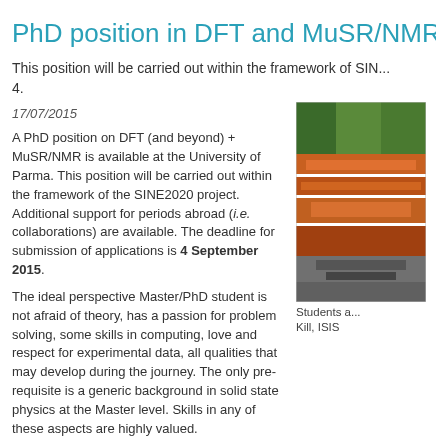PhD position in DFT and MuSR/NMR i...
This position will be carried out within the framework of SIN... 4.
17/07/2015
A PhD position on DFT (and beyond) + MuSR/NMR is available at the University of Parma. This position will be carried out within the framework of the SINE2020 project. Additional support for periods abroad (i.e. collaborations) are available. The deadline for submission of applications is 4 September 2015.
The ideal perspective Master/PhD student is not afraid of theory, has a passion for problem solving, some skills in computing, love and respect for experimental data, all qualities that may develop during the journey. The only pre-requisite is a generic background in solid state physics at the Master level. Skills in any of these aspects are highly valued.
[Figure (photo): Photo of equipment at ISIS facility, showing orange cables/components]
Students a... Kill, ISIS
Contacts:    roberto.derenzi@unipr.it and/or    pietro.bonfa@fis.unipr.it
Some local information can be found at    http://www.unipr.it/node/11846 .